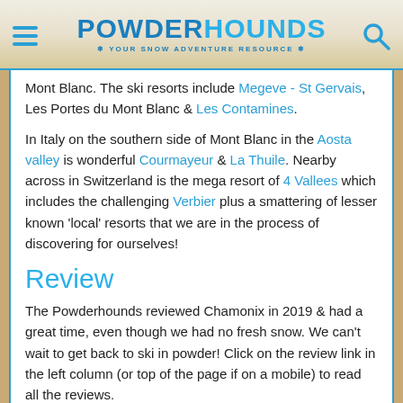POWDERHOUNDS — YOUR SNOW ADVENTURE RESOURCE
Mont Blanc. The ski resorts include Megeve - St Gervais, Les Portes du Mont Blanc & Les Contamines.
In Italy on the southern side of Mont Blanc in the Aosta valley is wonderful Courmayeur & La Thuile. Nearby across in Switzerland is the mega resort of 4 Vallees which includes the challenging Verbier plus a smattering of lesser known 'local' resorts that we are in the process of discovering for ourselves!
Review
The Powderhounds reviewed Chamonix in 2019 & had a great time, even though we had no fresh snow. We can't wait to get back to ski in powder! Click on the review link in the left column (or top of the page if on a mobile) to read all the reviews.